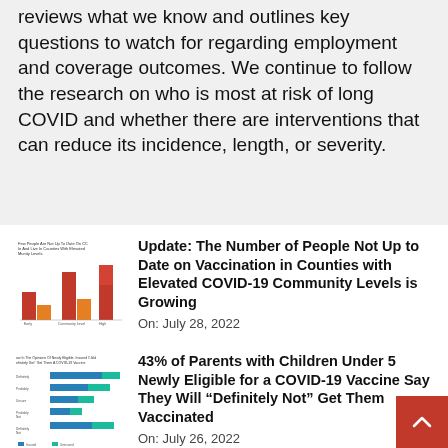reviews what we know and outlines key questions to watch for regarding employment and coverage outcomes. We continue to follow the research on who is most at risk of long COVID and whether there are interventions that can reduce its incidence, length, or severity.
[Figure (bar-chart): Thumbnail image of a bar chart about people not up to date on COVID vaccination in counties with elevated community levels]
Update: The Number of People Not Up to Date on Vaccination in Counties with Elevated COVID-19 Community Levels is Growing
On: July 28, 2022
[Figure (bar-chart): Thumbnail image of a horizontal bar chart about parents with children under 5 newly eligible for COVID-19 vaccine]
43% of Parents with Children Under 5 Newly Eligible for a COVID-19 Vaccine Say They Will “Definitely Not” Get Them Vaccinated
On: July 26, 2022